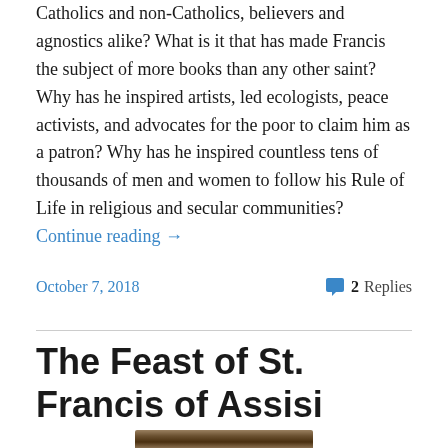Catholics and non-Catholics, believers and agnostics alike? What is it that has made Francis the subject of more books than any other saint? Why has he inspired artists, led ecologists, peace activists, and advocates for the poor to claim him as a patron? Why has he inspired countless tens of thousands of men and women to follow his Rule of Life in religious and secular communities? Continue reading →
October 7, 2018
2 Replies
The Feast of St. Francis of Assisi
[Figure (photo): Painting or icon depicting a religious figure (likely St. Francis of Assisi) with a golden halo, partial view showing the top portion of the artwork]